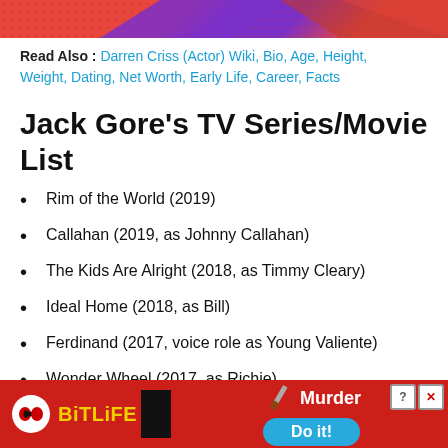[Figure (illustration): Top decorative banner with red and purple geometric pattern with dots]
Read Also : Darren Criss (Actor) Wiki, Bio, Age, Height, Weight, Dating, Net Worth, Early Life, Career, Facts
Jack Gore's TV Series/Movie List
Rim of the World (2019)
Callahan (2019, as Johnny Callahan)
The Kids Are Alright (2018, as Timmy Cleary)
Ideal Home (2018, as Bill)
Ferdinand (2017, voice role as Young Valiente)
Wonder Wheel (2017, as Richie)
Billions (2016, as Gordie Axelrod)
Pro...
[Figure (advertisement): BitLife mobile game advertisement banner with red background, BitLife logo, Murder Do it! call to action button]